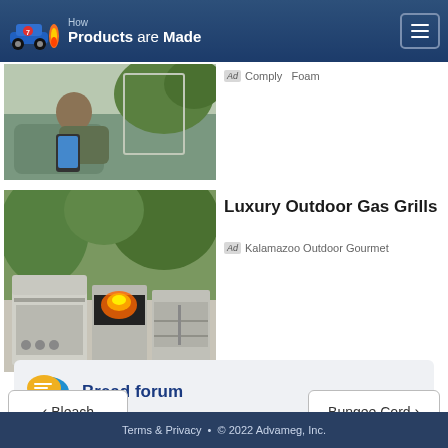How Products are Made
[Figure (photo): Person relaxing outdoors using a smartphone]
Ad  Comply  Foam
[Figure (photo): Luxury outdoor kitchen with gas grills]
Luxury Outdoor Gas Grills
Ad  Kalamazoo Outdoor Gourmet
Bread forum
< Bleach
Bungee Cord >
Terms & Privacy • © 2022 Advameg, Inc.